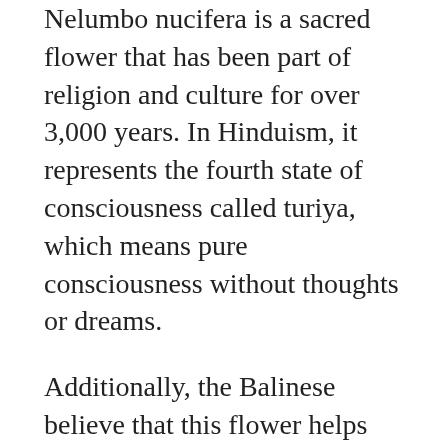Nelumbo nucifera is a sacred flower that has been part of religion and culture for over 3,000 years. In Hinduism, it represents the fourth state of consciousness called turiya, which means pure consciousness without thoughts or dreams.
Additionally, the Balinese believe that this flower helps them to communicate with their ancestors. At the same time, it is believed that Nelumbo nucifera can purify water and help people recover from illness.
Overview of Bali Reopening 2022
Professor Gusti suggested that Indonesia should phase out quarantine for fully immunized international travelers, but restrictions for...